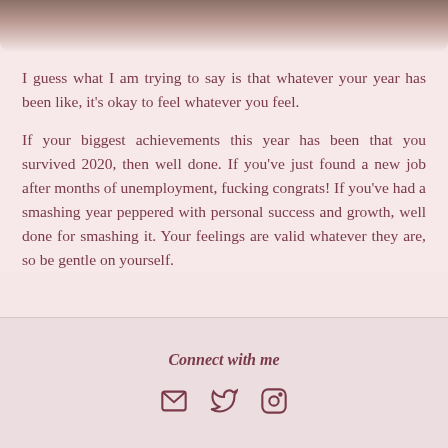[Figure (photo): Blurred/cropped top portion of an image, showing dark and light tones at the top of the page]
I guess what I am trying to say is that whatever your year has been like, it's okay to feel whatever you feel.
If your biggest achievements this year has been that you survived 2020, then well done. If you've just found a new job after months of unemployment, fucking congrats! If you've had a smashing year peppered with personal success and growth, well done for smashing it. Your feelings are valid whatever they are, so be gentle on yourself.
Connect with me
[Figure (infographic): Three social media icons: email envelope, Twitter bird, and Instagram camera]